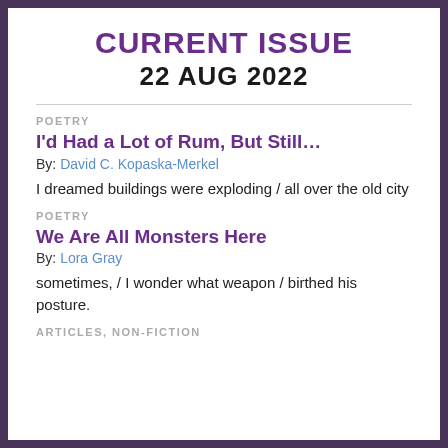CURRENT ISSUE
22 AUG 2022
POETRY
I'd Had a Lot of Rum, But Still…
By: David C. Kopaska-Merkel
I dreamed buildings were exploding / all over the old city
POETRY
We Are All Monsters Here
By: Lora Gray
sometimes, / I wonder what weapon / birthed his posture.
ARTICLES, NON-FICTION